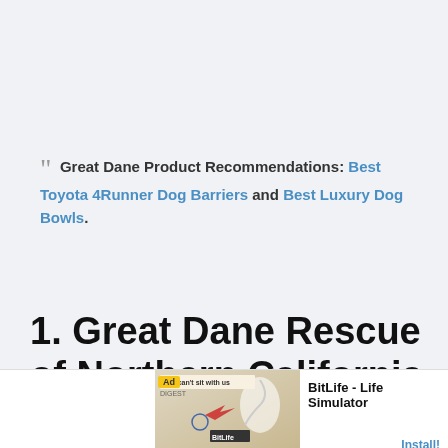“ Great Dane Product Recommendations: Best Toyota 4Runner Dog Barriers and Best Luxury Dog Bowls.
1. Great Dane Rescue of Northern California
[Figure (photo): Partial photo of a dog and outdoor winter scene, cropped at bottom of page]
[Figure (screenshot): Advertisement banner for BitLife - Life Simulator app with Install button]